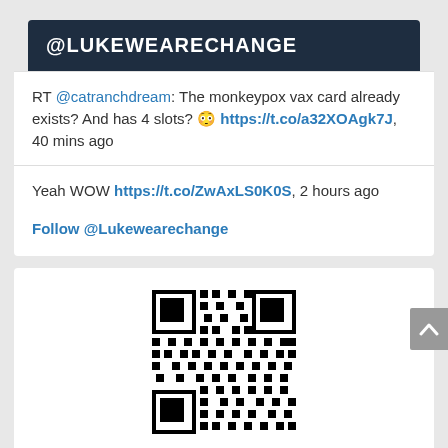@LUKEWEARECHANGE
RT @catranchdream: The monkeypox vax card already exists? And has 4 slots? 😳 https://t.co/a32XOAgk7J, 40 mins ago
Yeah WOW https://t.co/ZwAxLS0K0S, 2 hours ago
Follow @Lukewearechange
[Figure (other): QR code for EOS: wearechangee]
EOS:
wearechangee